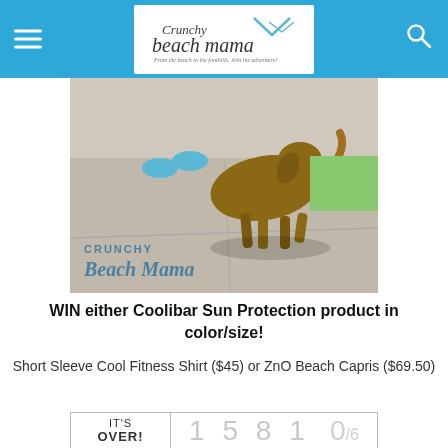Crunchy Beach Mama — From the beach to the foothills. Join the adventure!
[Figure (photo): Photo of a dog walking on a sidewalk with shadows, watermarked with 'Crunchy Beach Mama' logo text in blue]
WIN either Coolibar Sun Protection product in color/size!
Short Sleeve Cool Fitness Shirt ($45) or ZnO Beach Capris ($69.50)
| IT'S OVER! | 1 5 8 1 | 0/6 |